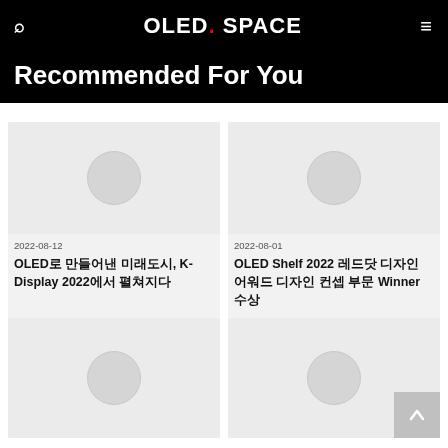OLED.SPACE
Recommended For You
[Figure (photo): Placeholder image card for OLED로 만들어낸 미래도시 article]
2022-08-12
OLED로 만들어낸 미래도시, K-Display 2022에서 펼쳐지다
[Figure (photo): Placeholder image card for OLED Shelf 2022 article]
2022-08-01
OLED Shelf 2022 레드닷 디자인 어워드 디자인 컨셉 부문 Winner 수상
[Figure (photo): Placeholder image card - bottom left]
[Figure (photo): Placeholder image card - bottom right]